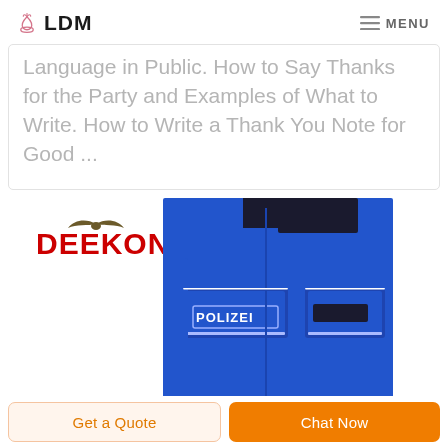LDM   MENU
Language in Public. How to Say Thanks for the Party and Examples of What to Write. How to Write a Thank You Note for Good ...
[Figure (photo): Blue police uniform jacket with POLIZEI badge on chest pocket and DEEKON brand logo in red at top left.]
Get a Quote   Chat Now